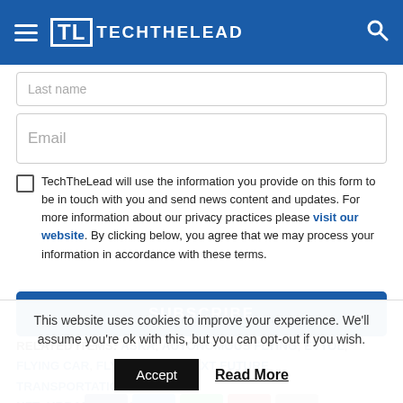TechTheLead
Last name (input field, partially visible)
Email (input field)
TechTheLead will use the information you provide on this form to be in touch with you and send news content and updates. For more information about our privacy practices please visit our website. By clicking below, you agree that we may process your information in accordance with these terms.
SUBSCRIBE
RELATED ITEMS: ASKA, AUTONOMOUS FLYING, EVTOL, FLYING CAR, FLYING CARS, NEXT FUTURE TRANSPORTATION, NFT, URBAN AIR MOBILITY
This website uses cookies to improve your experience. We'll assume you're ok with this, but you can opt-out if you wish.
Accept   Read More